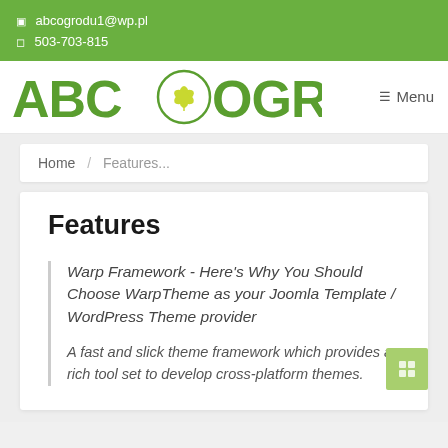✉ abcogrodu1@wp.pl
☎ 503-703-815
[Figure (logo): ABC OGRODU logo with circular plant/leaf emblem between ABC and OGRODU text, green color]
☰ Menu
Home / Features...
Features
Warp Framework - Here's Why You Should Choose WarpTheme as your Joomla Template / WordPress Theme provider
A fast and slick theme framework which provides a rich tool set to develop cross-platform themes.